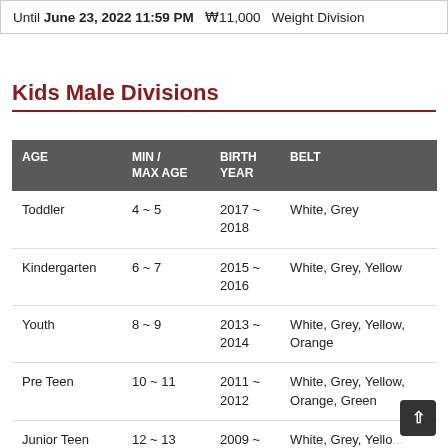Until June 23, 2022 11:59 PM  ₩11,000  Weight Division
Kids Male Divisions
| AGE | MIN / MAX AGE | BIRTH YEAR | BELT |
| --- | --- | --- | --- |
| Toddler | 4 ~ 5 | 2017 ~ 2018 | White, Grey |
| Kindergarten | 6 ~ 7 | 2015 ~ 2016 | White, Grey, Yellow |
| Youth | 8 ~ 9 | 2013 ~ 2014 | White, Grey, Yellow, Orange |
| Pre Teen | 10 ~ 11 | 2011 ~ 2012 | White, Grey, Yellow, Orange, Green |
| Junior Teen | 12 ~ 13 | 2009 ~ | White, Grey, Yello... |